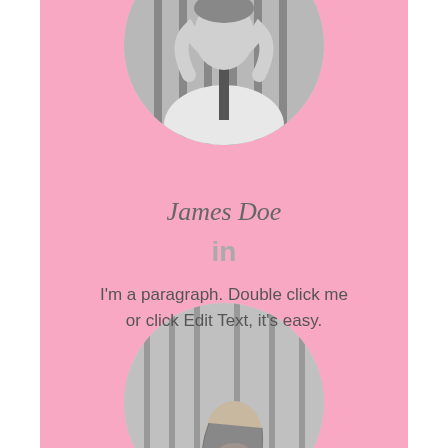[Figure (photo): Black and white photo of a man in a circle at the top]
James Doe
in
I'm a paragraph. Double click me or click Edit Text, it's easy.
[Figure (photo): Black and white photo of a man in a circle at the bottom]